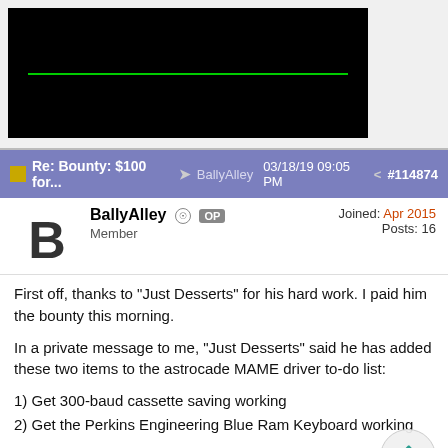[Figure (screenshot): Black video/media player area with a horizontal green line across the middle]
Re: Bounty: $100 for... BallyAlley 03/18/19 09:05 PM #114874
BallyAlley OP Member Joined: Apr 2015 Posts: 16
First off, thanks to "Just Desserts" for his hard work. I paid him the bounty this morning.
In a private message to me, "Just Desserts" said he has added these two items to the astrocade MAME driver to-do list:
1) Get 300-baud cassette saving working
2) Get the Perkins Engineering Blue Ram Keyboard working
He asked me if I could supply a list of other things that need updating and fixing. Here is a list of items that I can think off the top